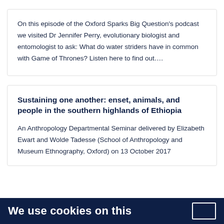On this episode of the Oxford Sparks Big Question's podcast we visited Dr Jennifer Perry, evolutionary biologist and entomologist to ask: What do water striders have in common with Game of Thrones? Listen here to find out….
Sustaining one another: enset, animals, and people in the southern highlands of Ethiopia
An Anthropology Departmental Seminar delivered by Elizabeth Ewart and Wolde Tadesse (School of Anthropology and Museum Ethnography, Oxford) on 13 October 2017
We use cookies on this